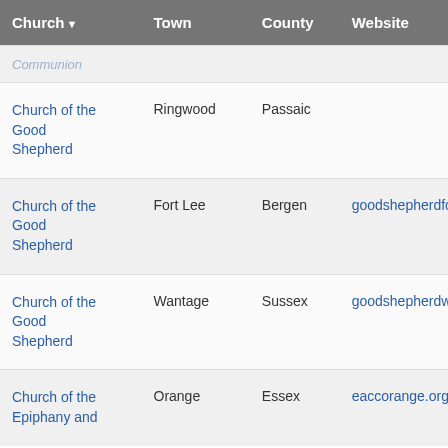| Church | Town | County | Website |
| --- | --- | --- | --- |
| Communion |  |  |  |
| Church of the Good Shepherd | Ringwood | Passaic |  |
| Church of the Good Shepherd | Fort Lee | Bergen | goodshepherdfo... |
| Church of the Good Shepherd | Wantage | Sussex | goodshepherdw... |
| Church of the Epiphany and | Orange | Essex | eaccorange.org |